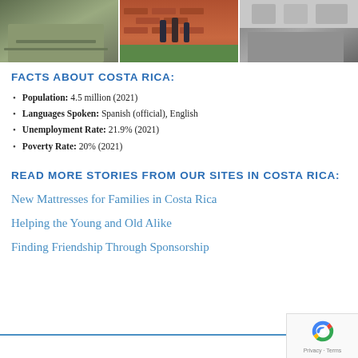[Figure (photo): Three photos of Costa Rica scenes arranged horizontally: left shows a paved outdoor area with greenery, center shows a brick wall with plants and people, right shows an outdoor area]
FACTS ABOUT COSTA RICA:
Population: 4.5 million (2021)
Languages Spoken: Spanish (official), English
Unemployment Rate: 21.9% (2021)
Poverty Rate: 20% (2021)
READ MORE STORIES FROM OUR SITES IN COSTA RICA:
New Mattresses for Families in Costa Rica
Helping the Young and Old Alike
Finding Friendship Through Sponsorship